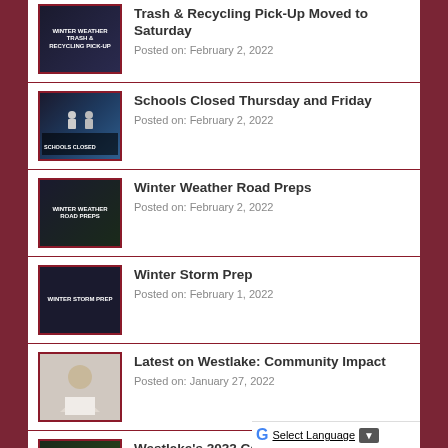Trash & Recycling Pick-Up Moved to Saturday
Posted on: February 2, 2022
Schools Closed Thursday and Friday
Posted on: February 2, 2022
Winter Weather Road Preps
Posted on: February 2, 2022
Winter Storm Prep
Posted on: February 1, 2022
Latest on Westlake: Community Impact
Posted on: January 27, 2022
Westlake's 2022 Capital Improvement Projects
Posted on: (cut off)